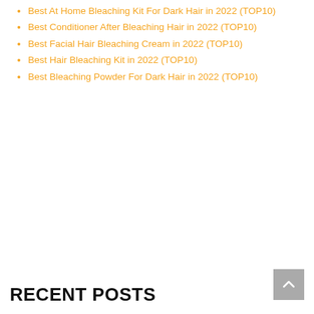(TOP10)
Best At Home Bleaching Kit For Dark Hair in 2022 (TOP10)
Best Conditioner After Bleaching Hair in 2022 (TOP10)
Best Facial Hair Bleaching Cream in 2022 (TOP10)
Best Hair Bleaching Kit in 2022 (TOP10)
Best Bleaching Powder For Dark Hair in 2022 (TOP10)
RECENT POSTS